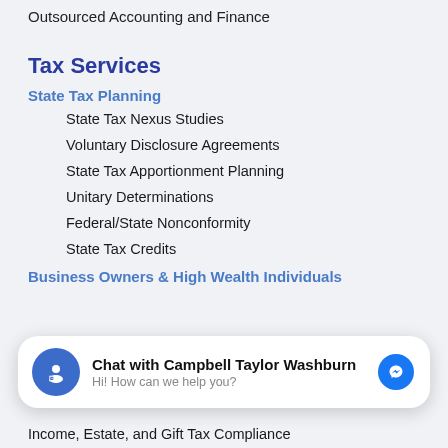Outsourced Accounting and Finance
Tax Services
State Tax Planning
State Tax Nexus Studies
Voluntary Disclosure Agreements
State Tax Apportionment Planning
Unitary Determinations
Federal/State Nonconformity
State Tax Credits
Business Owners & High Wealth Individuals
[Figure (other): Chat widget: Chat with Campbell Taylor Washburn. Hi! How can we help you? With accessibility icon and Facebook Messenger icon.]
Income, Estate, and Gift Tax Compliance